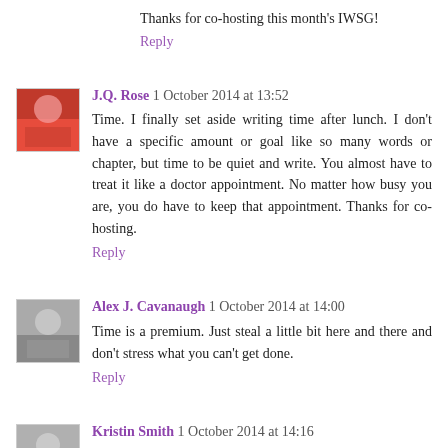Thanks for co-hosting this month's IWSG!
Reply
J.Q. Rose 1 October 2014 at 13:52
Time. I finally set aside writing time after lunch. I don't have a specific amount or goal like so many words or chapter, but time to be quiet and write. You almost have to treat it like a doctor appointment. No matter how busy you are, you do have to keep that appointment. Thanks for co-hosting.
Reply
Alex J. Cavanaugh 1 October 2014 at 14:00
Time is a premium. Just steal a little bit here and there and don't stress what you can't get done.
Reply
Kristin Smith 1 October 2014 at 14:16